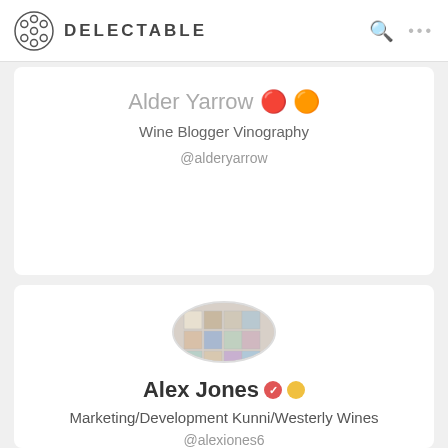DELECTABLE
Alder Yarrow 🔴 🟡
Wine Blogger Vinography
@alderyarrow
[Figure (photo): Circular profile photo showing a person standing in front of a wall filled with framed artwork/posters in a grid arrangement]
Alex Jones 🔴 🟡
Marketing/Development Kunni/Westerly Wines
@alexiones6